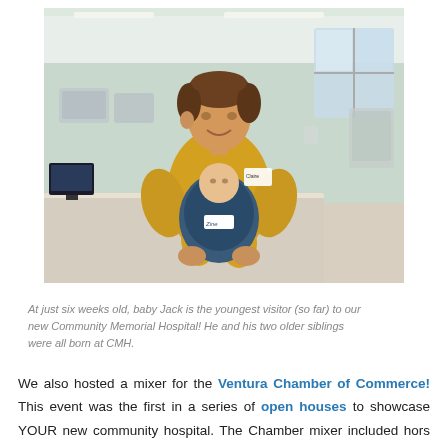[Figure (photo): A smiling woman in a yellow top wearing a hospital name badge holds a baby in a blue baby carrier/wrap in what appears to be a hospital nursery or NICU room with medical equipment and beds visible in the background.]
At just six weeks old, baby Jack is the youngest visitor (so far) to our new Community Memorial Hospital! He and his two older siblings were all born at CMH.
We also hosted a mixer for the Ventura Chamber of Commerce! This event was the first in a series of open houses to showcase YOUR new community hospital. The Chamber mixer included hors d'oeuvres on the Ocean Tower Cafe terrace, comments from Community Memorial Health System President & CEO Gary